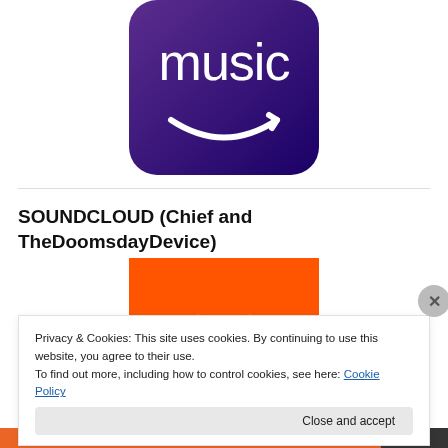[Figure (logo): Amazon Music logo: purple/blue rounded square background with white 'music' text and Amazon smile arrow]
SOUNDCLOUD (Chief and TheDoomsdayDevice)
[Figure (logo): SoundCloud logo: orange rectangle with white SoundCloud icon/waveform visible at bottom]
Privacy & Cookies: This site uses cookies. By continuing to use this website, you agree to their use.
To find out more, including how to control cookies, see here: Cookie Policy
Close and accept